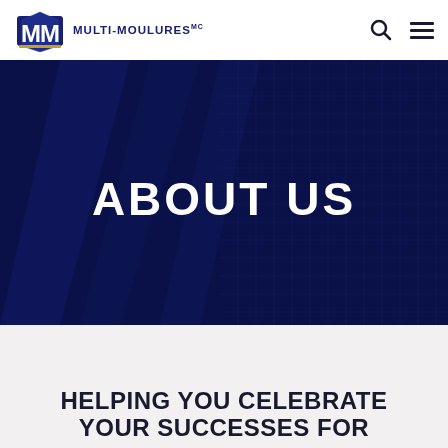Multi-Moulures logo and navigation bar with search and menu icons
[Figure (screenshot): Hero banner with dark blue tinted industrial grid/shelving background image with text ABOUT US centered in white bold uppercase letters]
HELPING YOU CELEBRATE YOUR SUCCESSES FOR